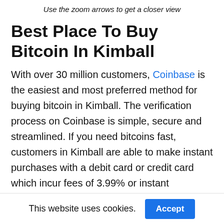Use the zoom arrows to get a closer view
Best Place To Buy Bitcoin In Kimball
With over 30 million customers, Coinbase is the easiest and most preferred method for buying bitcoin in Kimball. The verification process on Coinbase is simple, secure and streamlined. If you need bitcoins fast, customers in Kimball are able to make instant purchases with a debit card or credit card which incur fees of 3.99% or instant
This website uses cookies.  Accept